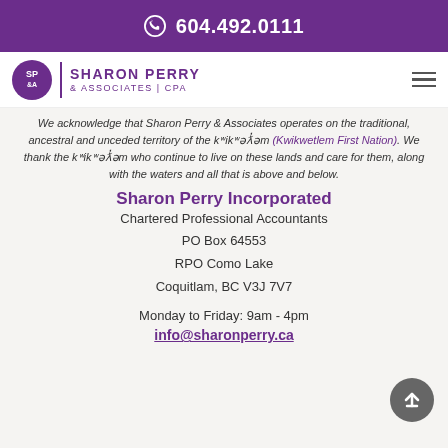604.492.0111
[Figure (logo): Sharon Perry & Associates CPA logo with purple circle SP&A and company name]
We acknowledge that Sharon Perry & Associates operates on the traditional, ancestral and unceded territory of the kʷikʷəƛm (Kwikwetlem First Nation). We thank the kʷikʷəƛm who continue to live on these lands and care for them, along with the waters and all that is above and below.
Sharon Perry Incorporated
Chartered Professional Accountants
PO Box 64553
RPO Como Lake
Coquitlam, BC V3J 7V7
Monday to Friday: 9am - 4pm
info@sharonperry.ca